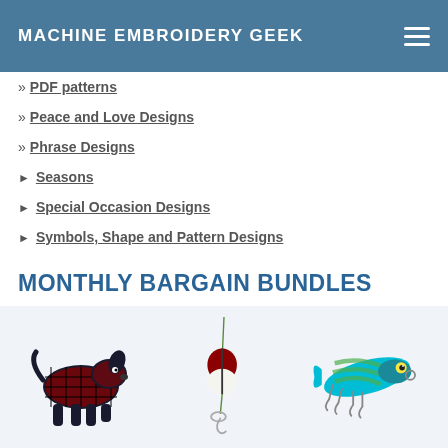MACHINE EMBROIDERY GEEK
» PDF patterns
» Peace and Love Designs
» Phrase Designs
► Seasons
► Special Occasion Designs
► Symbols, Shape and Pattern Designs
MONTHLY BARGAIN BUNDLES
Get a new set of embroidery designs every month for 50% off.
[Figure (illustration): Three embroidery design illustrations: a black and red plaid dog, a fishing bobber with hook, and a colorful fish lure]